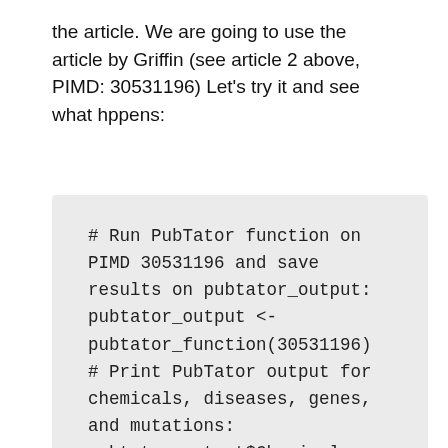the article. We are going to use the article by Griffin (see article 2 above, PIMD: 30531196) Let's try it and see what hppens:
# Run PubTator function on PIMD 30531196 and save results on pubtator_output:
pubtator_output <- pubtator_function(30531196)
# Print PubTator output for chemicals, diseases, genes, and mutations:
pubtator_output$Chemicals
pubtator_output$Diseases
pubtator_output$Genes
pubtator_output$Mutations